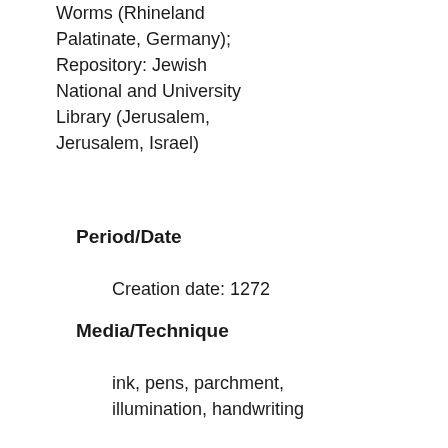Worms (Rhineland Palatinate, Germany); Repository: Jewish National and University Library (Jerusalem, Jerusalem, Israel)
Period/Date
Creation date: 1272
Media/Technique
ink, pens, parchment, illumination, handwriting
Subjects
Manuscripts
Prayer books
Hymns
Festivals
Holidays